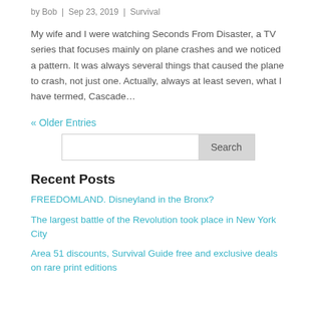by Bob | Sep 23, 2019 | Survival
My wife and I were watching Seconds From Disaster, a TV series that focuses mainly on plane crashes and we noticed a pattern. It was always several things that caused the plane to crash, not just one. Actually, always at least seven, what I have termed, Cascade…
« Older Entries
Search
Recent Posts
FREEDOMLAND. Disneyland in the Bronx?
The largest battle of the Revolution took place in New York City
Area 51 discounts, Survival Guide free and exclusive deals on rare print editions